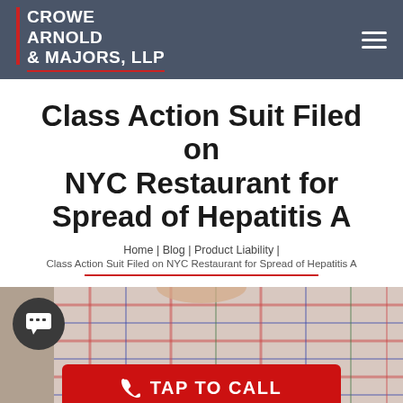CROWE ARNOLD & MAJORS, LLP
Class Action Suit Filed on NYC Restaurant for Spread of Hepatitis A
Home | Blog | Product Liability | Class Action Suit Filed on NYC Restaurant for Spread of Hepatitis A
[Figure (photo): Person in plaid shirt with hands on hips, partial view, with a chat icon and a red TAP TO CALL button overlaid]